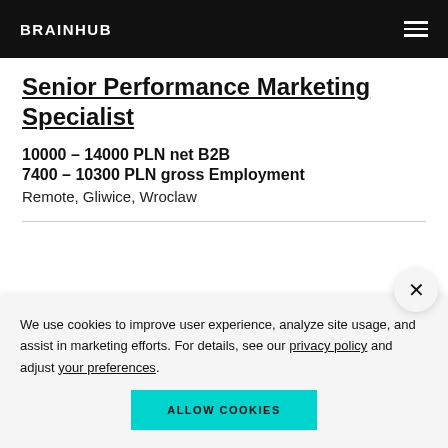BRAINHUB
Senior Performance Marketing Specialist
10000 - 14000 PLN net B2B
7400 - 10300 PLN gross Employment
Remote, Gliwice, Wroclaw
We use cookies to improve user experience, analyze site usage, and assist in marketing efforts. For details, see our privacy policy and adjust your preferences.